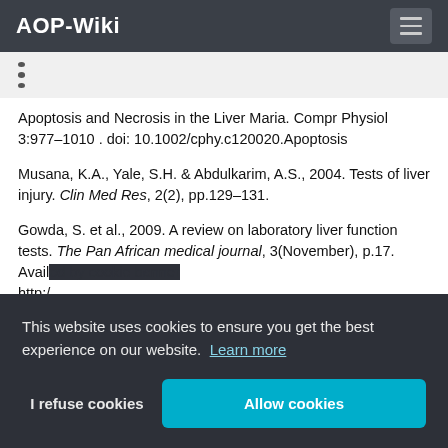AOP-Wiki
•
•
•
Apoptosis and Necrosis in the Liver Maria. Compr Physiol 3:977–1010 . doi: 10.1002/cphy.c120020.Apoptosis
Musana, K.A., Yale, S.H. & Abdulkarim, A.S., 2004. Tests of liver injury. Clin Med Res, 2(2), pp.129–131.
Gowda, S. et al., 2009. A review on laboratory liver function tests. The Pan African medical journal, 3(November), p.17. Avail[...] http://[...] www.[...] artid=[...]
This website uses cookies to ensure you get the best experience on our website.  Learn more
I refuse cookies
Allow cookies